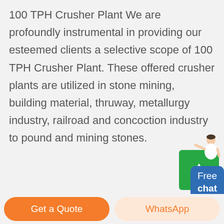100 TPH Crusher Plant We are profoundly instrumental in providing our esteemed clients a selective scope of 100 TPH Crusher Plant. These offered crusher plants are utilized in stone mining, building material, thruway, metallurgy industry, railroad and concoction industry to pound and mining stones.
[Figure (illustration): Chat widget with a person illustration and a blue 'Free chat' button]
[Figure (illustration): Green scroll-to-top button with an upward arrow icon]
Get a Quote
WhatsApp